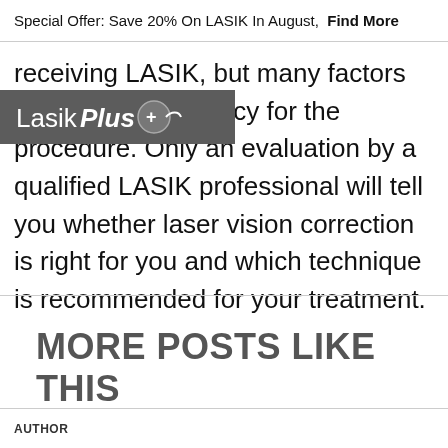Special Offer: Save 20% On LASIK In August,  Find More
receiving LASIK, but many factors affect your candidacy for the procedure. Only an evaluation by a qualified LASIK professional will tell you whether laser vision correction is right for you and which technique is recommended for your treatment.
[Figure (logo): LasikPlus logo with circular icon on grey background]
MORE POSTS LIKE THIS
AUTHOR